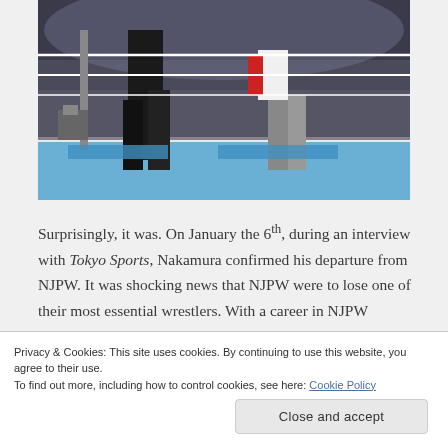[Figure (photo): Wrestling match photo showing two wrestlers in a ring with a crowd and arena lighting in the background. One wrestler in black pants, another in white and red gear.]
Surprisingly, it was. On January the 6th, during an interview with Tokyo Sports, Nakamura confirmed his departure from NJPW. It was shocking news that NJPW were to lose one of their most essential wrestlers. With a career in NJPW spanning over a decade, it seemed that Nakamura wanted to continue
Privacy & Cookies: This site uses cookies. By continuing to use this website, you agree to their use.
To find out more, including how to control cookies, see here: Cookie Policy
Close and accept